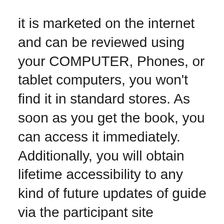it is marketed on the internet and can be reviewed using your COMPUTER, Phones, or tablet computers, you won't find it in standard stores. As soon as you get the book, you can access it immediately. Additionally, you will obtain lifetime accessibility to any kind of future updates of guide via the participant site developed by Frank as well as Tom. As modern technology is always progressing, the brand-new process could arise as well for brand-new battery kinds. So, with lifetime accessibility, you can obtain all the updated process.
In addition, you will certainly obtain 3 even more bonus products as well when you get EZ Battery Reconditioning. The bonuses are-.